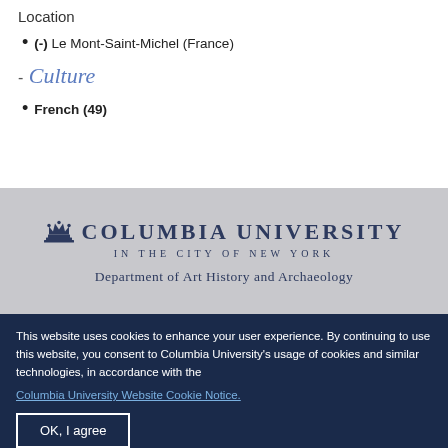Location
(-) Le Mont-Saint-Michel (France)
- Culture
French (49)
[Figure (logo): Columbia University logo with crown icon, text 'COLUMBIA UNIVERSITY IN THE CITY OF NEW YORK']
Department of Art History and Archaeology
This website uses cookies to enhance your user experience. By continuing to use this website, you consent to Columbia University's usage of cookies and similar technologies, in accordance with the Columbia University Website Cookie Notice.
OK, I agree